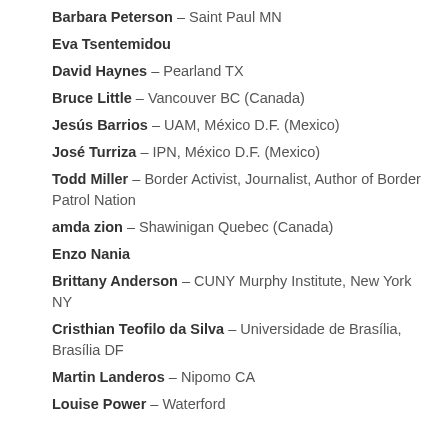Barbara Peterson – Saint Paul MN
Eva Tsentemidou
David Haynes – Pearland TX
Bruce Little – Vancouver BC (Canada)
Jesús Barrios – UAM, México D.F. (Mexico)
José Turriza – IPN, México D.F. (Mexico)
Todd Miller – Border Activist, Journalist, Author of Border Patrol Nation
amda zion – Shawinigan Quebec (Canada)
Enzo Nania
Brittany Anderson – CUNY Murphy Institute, New York NY
Cristhian Teofilo da Silva – Universidade de Brasília, Brasília DF
Martin Landeros – Nipomo CA
Louise Power – Waterford